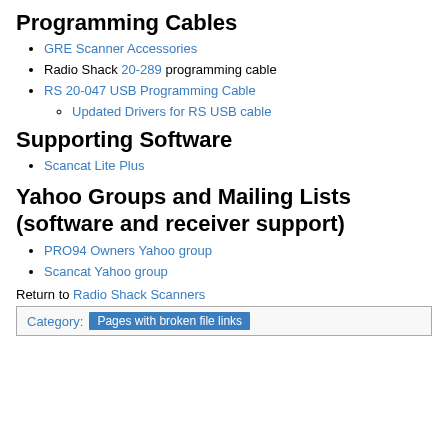Programming Cables
GRE Scanner Accessories
Radio Shack 20-289 programming cable
RS 20-047 USB Programming Cable
Updated Drivers for RS USB cable
Supporting Software
Scancat Lite Plus
Yahoo Groups and Mailing Lists (software and receiver support)
PRO94 Owners Yahoo group
Scancat Yahoo group
Return to Radio Shack Scanners
Category: Pages with broken file links